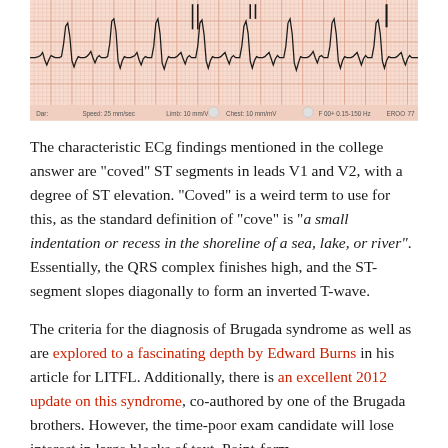[Figure (other): ECG strip showing cardiac waveforms on pink graph paper with labels including Speed: 25 mm/sec, Limb: 10 mm/V, Chest: 10 mm/mV, F 00+ 0.15-150 Hz, EROO]
The characteristic ECg findings mentioned in the college answer are "coved" ST segments in leads V1 and V2, with a degree of ST elevation. "Coved" is a weird term to use for this, as the standard definition of "cove" is "a small indentation or recess in the shoreline of a sea, lake, or river". Essentially, the QRS complex finishes high, and the ST-segment slopes diagonally to form an inverted T-wave.
The criteria for the diagnosis of Brugada syndrome as well as  are explored to a fascinating depth by Edward Burns in his article for LITFL. Additionally, there is an excellent 2012 update on this syndrome, co-authored by one of the Brugada brothers. However, the time-poor exam candidate will lose interest in large blocks of text. Point-form